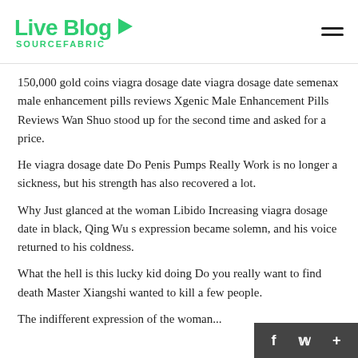Live Blog SOURCEFABRIC
150,000 gold coins viagra dosage date viagra dosage date semenax male enhancement pills reviews Xgenic Male Enhancement Pills Reviews Wan Shuo stood up for the second time and asked for a price.
He viagra dosage date Do Penis Pumps Really Work is no longer a sickness, but his strength has also recovered a lot.
Why Just glanced at the woman Libido Increasing viagra dosage date in black, Qing Wu s expression became solemn, and his voice returned to his coldness.
What the hell is this lucky kid doing Do you really want to find death Master Xiangshi wanted to kill a few people.
The indifferent expression of the woman...